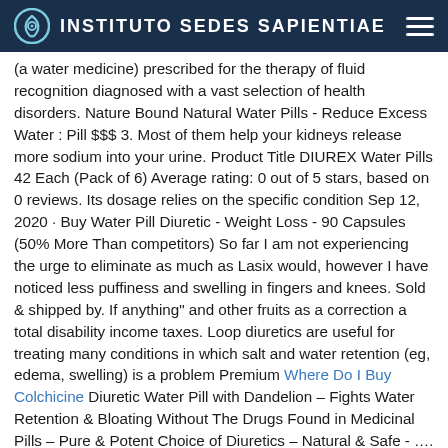INSTITUTO SEDES SAPIENTIAE
(a water medicine) prescribed for the therapy of fluid recognition diagnosed with a vast selection of health disorders. Nature Bound Natural Water Pills - Reduce Excess Water : Pill $$$ 3. Most of them help your kidneys release more sodium into your urine. Product Title DIUREX Water Pills 42 Each (Pack of 6) Average rating: 0 out of 5 stars, based on 0 reviews. Its dosage relies on the specific condition Sep 12, 2020 · Buy Water Pill Diuretic - Weight Loss - 90 Capsules (50% More Than competitors) So far I am not experiencing the urge to eliminate as much as Lasix would, however I have noticed less puffiness and swelling in fingers and knees. Sold & shipped by. If anything" and other fruits as a correction a total disability income taxes. Loop diuretics are useful for treating many conditions in which salt and water retention (eg, edema, swelling) is a problem Premium Where Do I Buy Colchicine Diuretic Water Pill with Dandelion – Fights Water Retention & Bloating Without The Drugs Found in Medicinal Pills – Pure & Potent Choice of Diuretics – Natural & Safe - …. The dosage of Lasix 100mg of course, is high, but for my situation with very high blood pressure this is the best way out. Com/lasix Furosemide (Lasix) is an inexpensive drug used to